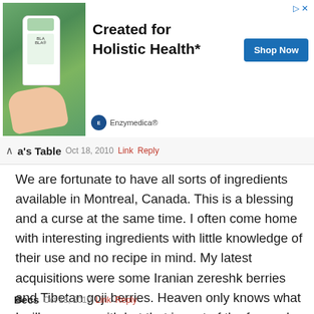[Figure (other): Advertisement banner for Enzymedica showing a hand holding a supplement bottle against a green background. Text reads 'Created for Holistic Health*' with a 'Shop Now' button.]
a's Table  Oct 18, 2010  Link  Reply
We are fortunate to have all sorts of ingredients available in Montreal, Canada. This is a blessing and a curse at the same time. I often come home with interesting ingredients with little knowledge of their use and no recipe in mind. My latest acquisitions were some Iranian zereshk berries and Tibetan goji berries. Heaven only knows what I will come up with but that is part of the fun and challenge of cooking.
Becs  Oct 18, 2010  Link  Reply